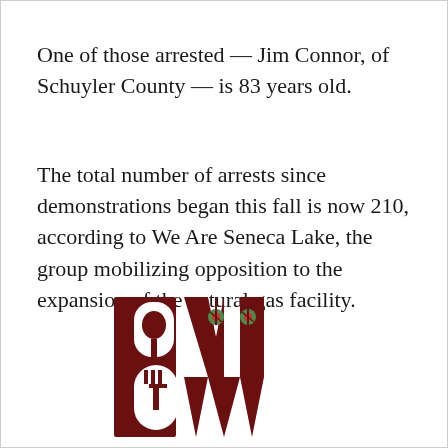One of those arrested — Jim Connor, of Schuyler County — is 83 years old.
The total number of arrests since demonstrations began this fall is now 210, according to We Are Seneca Lake, the group mobilizing opposition to the expansion of the natural gas facility.
ADVERTISEMENT
[Figure (logo): BW restaurant/bar logo in dark red/maroon with fork and spoon integrated into the letter B and martini glass imagery in the letters W]